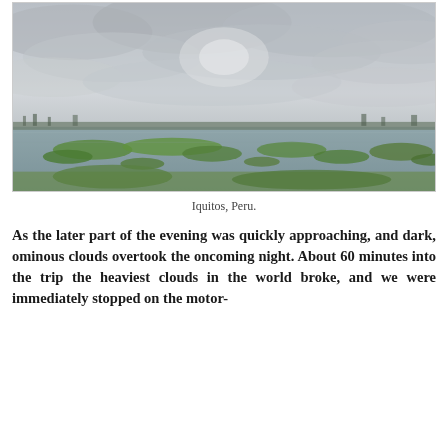[Figure (photo): Flooded landscape in Iquitos, Peru. Wide panoramic view showing a vast flooded plain with green vegetation islands and patches emerging from grey-brown water, under a dramatic overcast sky with thick grey clouds. Distant treeline visible on the horizon.]
Iquitos, Peru.
As the later part of the evening was quickly approaching, and dark, ominous clouds overtook the oncoming night. About 60 minutes into the trip the heaviest clouds in the world broke, and we were immediately stopped on the motor-